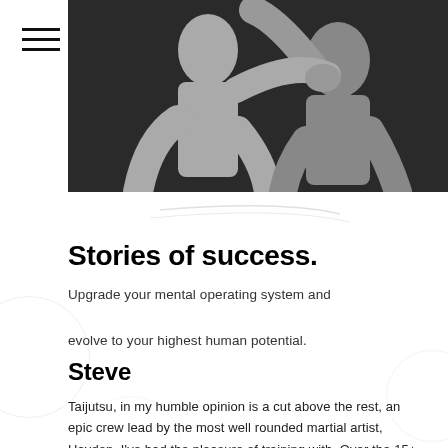[Figure (illustration): Grayscale martial arts illustration showing fighting figures on dark background]
Stories of success.
Upgrade your mental operating system and evolve to your highest human potential.
Steve
Taijutsu, in my humble opinion is a cut above the rest, an epic crew lead by the most well rounded martial artist, Hayden, I've had the pleasure of training with. Over the 15+ years I've spent as a